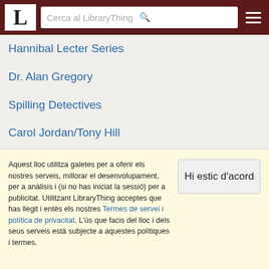L | Cerca al LibraryThing
Hannibal Lecter Series
Dr. Alan Gregory
Spilling Detectives
Carol Jordan/Tony Hill
Alex Cross
Frieda Klein
Kate Waters
You
Aquest lloc utilitza galetes per a oferir els nostres serveis, millorar el desenvolupament, per a anàlisis i (si no has iniciat la sessió) per a publicitat. Utilitzant LibraryThing acceptes que has llegit i entès els nostres Termes de servei i política de privacitat. L'ús que facis del lloc i dels seus serveis està subjecte a aquestes polítiques i termes.